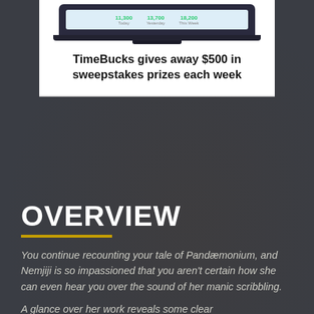[Figure (screenshot): A laptop screen showing a TimeBucks dashboard with green stat values (11,300 Today, 13,700 Yesterday, 18,200 This Week), with promotional text below: 'TimeBucks gives away $500 in sweepstakes prizes each week']
OVERVIEW
You continue recounting your tale of Pandæmonium, and Nemjiji is so impassioned that you aren't certain how she can even hear you over the sound of her manic scribbling.
A glance over her work reveals some clear